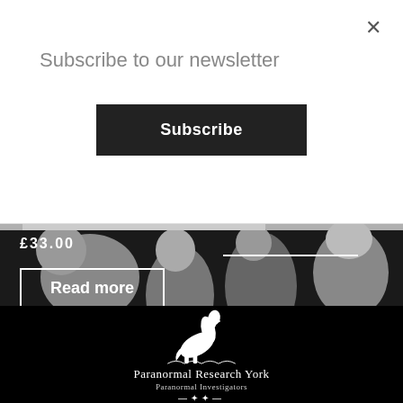Subscribe to our newsletter
Subscribe
£33.00
Read more
[Figure (photo): Black and white photo of a crowd of people at what appears to be an indoor event or investigation, with several individuals visible including blonde women and a bald man.]
[Figure (logo): Paranormal Research York logo featuring a white rearing horse with rider silhouette above the text 'Paranormal Research York' and 'Paranormal Investigators']